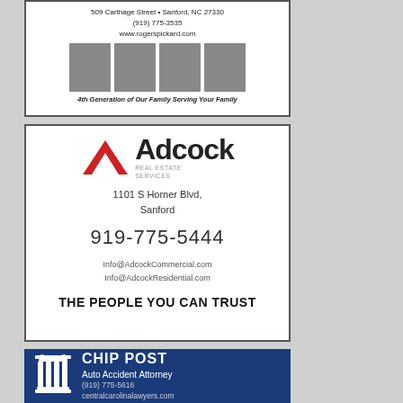[Figure (advertisement): Rogers Pickard law firm ad: address 509 Carthage Street, Sanford NC 27330, phone (919) 775-3535, www.rogerspickard.com, four black and white portrait photos, tagline '4th Generation of Our Family Serving Your Family']
[Figure (advertisement): Adcock Real Estate Services ad with red chevron logo, address 1101 S Horner Blvd, Sanford, phone 919-775-5444, Info@AdcockCommercial.com, Info@AdcockResidential.com, tagline 'THE PEOPLE YOU CAN TRUST']
[Figure (advertisement): Chip Post Auto Accident Attorney ad on blue background with white column/pillar icon, phone (919) 775-5616, centralcarolinalawyers.com]